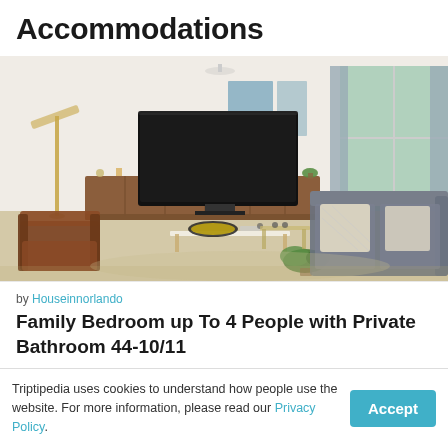Accommodations
[Figure (photo): Interior photo of a modern living room with TV on a wooden media unit, two brown armchairs in the foreground, a white coffee table, and a large grey sectional sofa near floor-to-ceiling windows.]
by Houseinnorlando
Family Bedroom up To 4 People with Private Bathroom 44-10/11
Triptipedia uses cookies to understand how people use the website. For more information, please read our Privacy Policy.